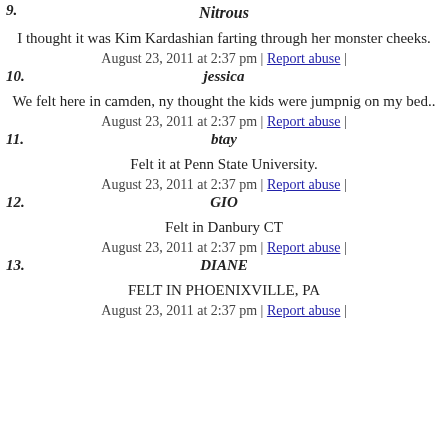9. Nitrous
I thought it was Kim Kardashian farting through her monster cheeks.
August 23, 2011 at 2:37 pm | Report abuse |
10. jessica
We felt here in camden, ny thought the kids were jumpnig on my bed..
August 23, 2011 at 2:37 pm | Report abuse |
11. btay
Felt it at Penn State University.
August 23, 2011 at 2:37 pm | Report abuse |
12. GIO
Felt in Danbury CT
August 23, 2011 at 2:37 pm | Report abuse |
13. DIANE
FELT IN PHOENIXVILLE, PA
August 23, 2011 at 2:37 pm | Report abuse |